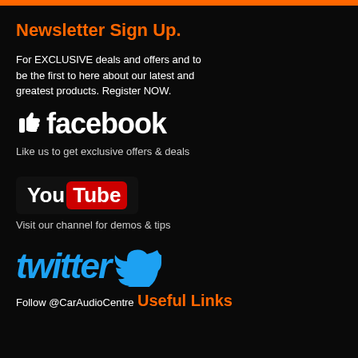Newsletter Sign Up.
For EXCLUSIVE deals and offers and to be the first to here about our latest and greatest products. Register NOW.
[Figure (logo): Facebook logo with thumbs up icon and 'facebook' text]
Like us to get exclusive offers & deals
[Figure (logo): YouTube logo with 'You' in white and 'Tube' in red box]
Visit our channel for demos & tips
[Figure (logo): Twitter logo with 'twitter' in cyan italic text and bird icon]
Follow @CarAudioCentre
Useful Links